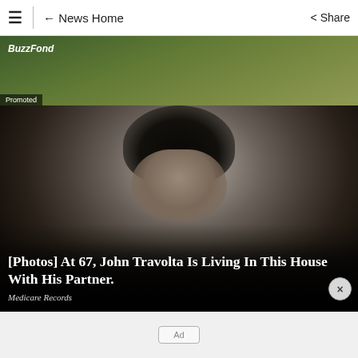≡  |  ← News Home    Share
[Figure (photo): Partial view of an outdoor scene with greenery, showing BuzzFond branding and Promoted label]
[Figure (photo): Close-up portrait of a young man with dark slicked-back hair wearing a dark jacket, resembling John Travolta in Grease]
[Photos] At 67, John Travolta Is Living In This House With His Partner.
Medicare Records
Ad